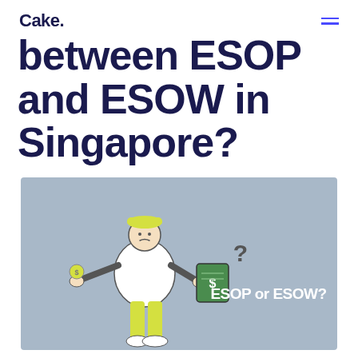Cake.
between ESOP and ESOW in Singapore?
[Figure (illustration): An illustration of a person wearing a yellow cap and yellow trousers, holding a coin in one hand and a green document/book in the other, with a question mark above, and text 'ESOP or ESOW?' on the right side. Background is steel blue/grey.]